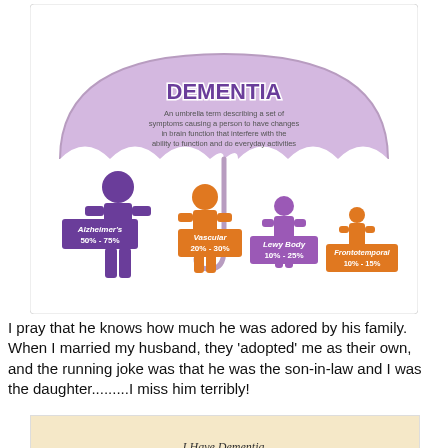[Figure (infographic): Dementia umbrella infographic showing Dementia as an umbrella term with four types: Alzheimer's 50%-75%, Vascular 20%-30%, Lewy Body 10%-25%, Frontotemporal 10%-15%. Human figures of decreasing size represent each type under a purple umbrella shape.]
I pray that he knows how much he was adored by his family. When I married my husband, they 'adopted' me as their own, and the running joke was that he was the son-in-law and I was the daughter.........I miss him terribly!
[Figure (illustration): A beige/cream colored card with italic text: I Have Dementia. My eyes do see, My ears do hear]